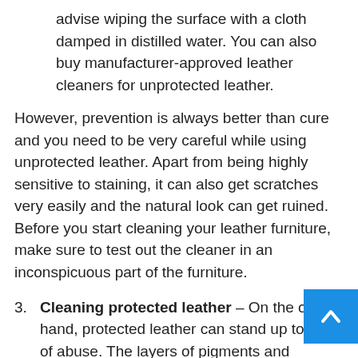advise wiping the surface with a cloth damped in distilled water. You can also buy manufacturer-approved leather cleaners for unprotected leather.
However, prevention is always better than cure and you need to be very careful while using unprotected leather. Apart from being highly sensitive to staining, it can also get scratches very easily and the natural look can get ruined. Before you start cleaning your leather furniture, make sure to test out the cleaner in an inconspicuous part of the furniture.
3. Cleaning protected leather – On the other hand, protected leather can stand up to a lot of abuse. The layers of pigments and polymers on the...